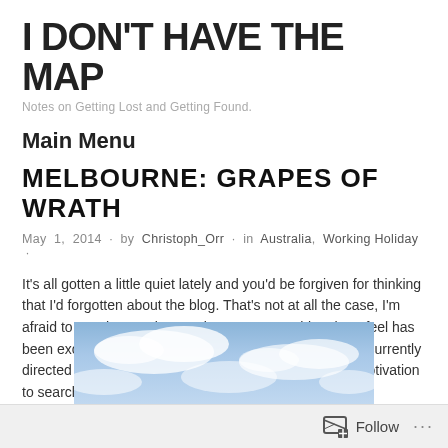I DON'T HAVE THE MAP
Notes on Getting Lost and Getting Found.
Main Menu
MELBOURNE: GRAPES OF WRATH
May 1, 2014 · by Christoph_Orr · in Australia, Working Holiday ·
It's all gotten a little quiet lately and you'd be forgiven for thinking that I'd forgotten about the blog. That's not at all the case, I'm afraid to say that I've just not been up to anything that I feel has been exciting enough to share with you. My free time is currently directed towards the search for regional work and the motivation to search for said work.
[Figure (photo): Sky with clouds, blue sky background]
Follow ...